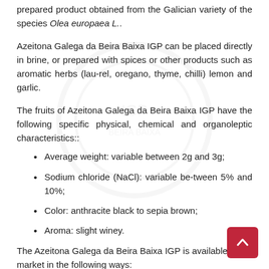prepared product obtained from the Galician variety of the species Olea europaea L..
Azeitona Galega da Beira Baixa IGP can be placed directly in brine, or prepared with spices or other products such as aromatic herbs (lau-rel, oregano, thyme, chilli) lemon and garlic.
The fruits of Azeitona Galega da Beira Baixa IGP have the following specific physical, chemical and organoleptic characteristics::
Average weight: variable between 2g and 3g;
Sodium chloride (NaCl): variable be-tween 5% and 10%;
Color: anthracite black to sepia brown;
Aroma: slight winey.
The Azeitona Galega da Beira Baixa IGP is available in the market in the following ways: